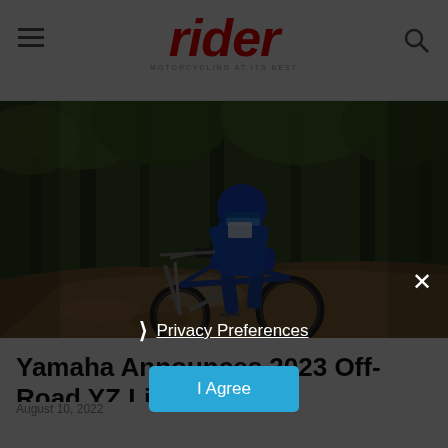rider — MOTORCYCLING AT ITS BEST
[Figure (photo): A motocross rider in blue gear riding a blue Yamaha dirt bike through a wooded trail, kicking up dirt and smoke]
Yamaha Announces 2023 Off-Road YZ Lineup
August 10, 2022
[Figure (screenshot): Privacy consent overlay with dark background showing a close button (X), Privacy Preferences link, and an I Agree button]